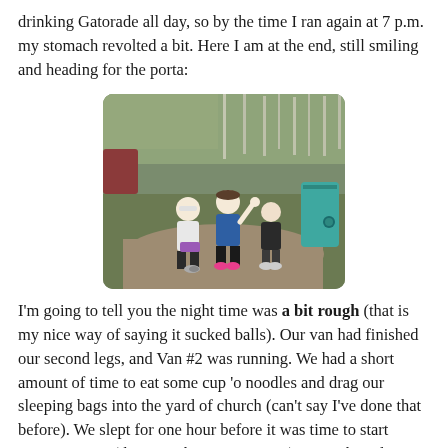drinking Gatorade all day, so by the time I ran again at 7 p.m. my stomach revolted a bit. Here I am at the end, still smiling and heading for the porta:
[Figure (photo): Three runners posing near a porta-potty at the end of a race, with trees and grass in the background. The middle person in a blue shirt is waving.]
I'm going to tell you the night time was a bit rough (that is my nice way of saying it sucked balls). Our van had finished our second legs, and Van #2 was running. We had a short amount of time to eat some cup 'o noodles and drag our sleeping bags into the yard of church (can't say I've done that before). We slept for one hour before it was time to start running again (this was about 10:30 p.m.). It was brutal.